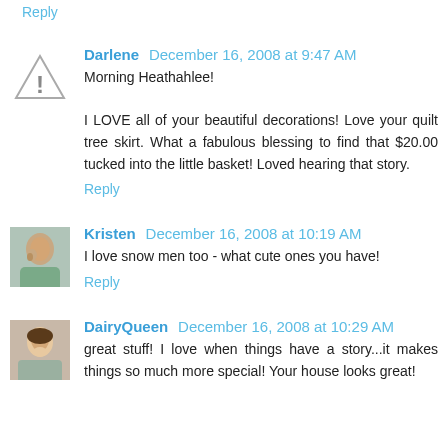Reply
Darlene  December 16, 2008 at 9:47 AM
Morning Heathahlee!

I LOVE all of your beautiful decorations! Love your quilt tree skirt. What a fabulous blessing to find that $20.00 tucked into the little basket! Loved hearing that story.
Reply
Kristen  December 16, 2008 at 10:19 AM
I love snow men too - what cute ones you have!
Reply
DairyQueen  December 16, 2008 at 10:29 AM
great stuff! I love when things have a story...it makes things so much more special! Your house looks great!